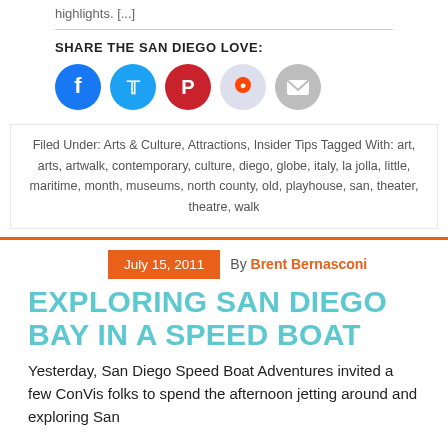highlights. [...]
SHARE THE SAN DIEGO LOVE:
[Figure (infographic): Social sharing icons: Facebook (blue), Twitter (blue), Pinterest (red), Reddit (light blue), Email (grey)]
Filed Under: Arts & Culture, Attractions, Insider Tips Tagged With: art, arts, artwalk, contemporary, culture, diego, globe, italy, la jolla, little, maritime, month, museums, north county, old, playhouse, san, theater, theatre, walk
July 15, 2011  By Brent Bernasconi
EXPLORING SAN DIEGO BAY IN A SPEED BOAT
Yesterday, San Diego Speed Boat Adventures invited a few ConVis folks to spend the afternoon jetting around and exploring San